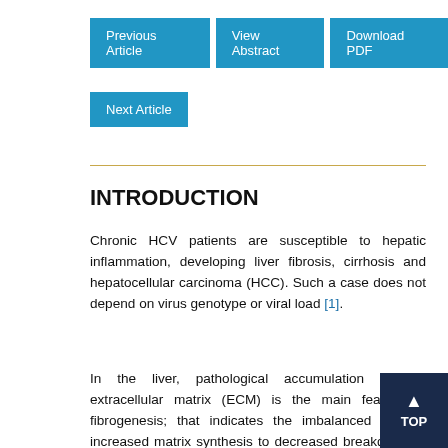Previous Article | View Abstract | Download PDF | Next Article
INTRODUCTION
Chronic HCV patients are susceptible to hepatic inflammation, developing liver fibrosis, cirrhosis and hepatocellular carcinoma (HCC). Such a case does not depend on virus genotype or viral load [1].
In the liver, pathological accumulation of the extracellular matrix (ECM) is the main feature of fibrogenesis; that indicates the imbalanced rate of increased matrix synthesis to decreased breakdown of connective tissue proteins which is regulated by the matrix metalloproteinases (MMPs). Apparently, MMPs play a central role in remodeling of extracellular matrix and are involved in fibrogenesis and carcinogenesis